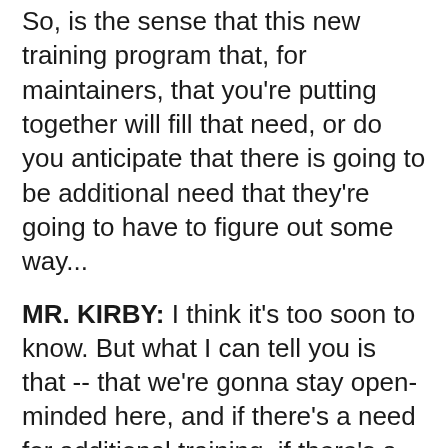So, is the sense that this new training program that, for maintainers, that you're putting together will fill that need, or do you anticipate that there is going to be additional need that they're going to have to figure out some way...
MR. KIRBY: I think it's too soon to know. But what I can tell you is that -- that we're gonna stay open-minded here, and if there's a need for additional training, if there's a need for other systems that could use some maintenance support to include the provision of spare parts because we can't expect that the Ukrainians are going to necessarily have old spare parts for these things, then, you know, we're going to do that. In fact, we have already: howitzers are a